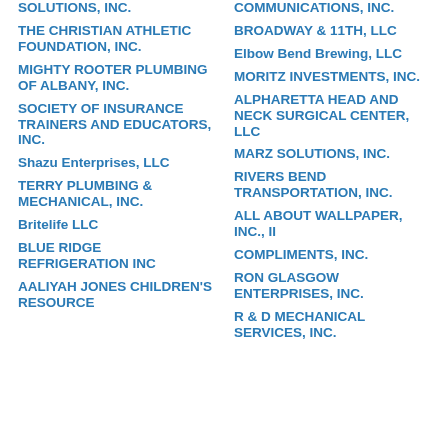SOLUTIONS, INC.
THE CHRISTIAN ATHLETIC FOUNDATION, INC.
MIGHTY ROOTER PLUMBING OF ALBANY, INC.
SOCIETY OF INSURANCE TRAINERS AND EDUCATORS, INC.
Shazu Enterprises, LLC
TERRY PLUMBING & MECHANICAL, INC.
Britelife LLC
BLUE RIDGE REFRIGERATION INC
AALIYAH JONES CHILDREN'S RESOURCE
COMMUNICATIONS, INC.
BROADWAY & 11TH, LLC
Elbow Bend Brewing, LLC
MORITZ INVESTMENTS, INC.
ALPHARETTA HEAD AND NECK SURGICAL CENTER, LLC
MARZ SOLUTIONS, INC.
RIVERS BEND TRANSPORTATION, INC.
ALL ABOUT WALLPAPER, INC., II
COMPLIMENTS, INC.
RON GLASGOW ENTERPRISES, INC.
R & D MECHANICAL SERVICES, INC.